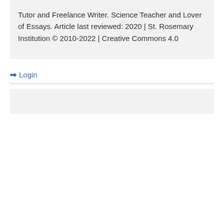Tutor and Freelance Writer. Science Teacher and Lover of Essays. Article last reviewed: 2020 | St. Rosemary Institution © 2010-2022 | Creative Commons 4.0
Login